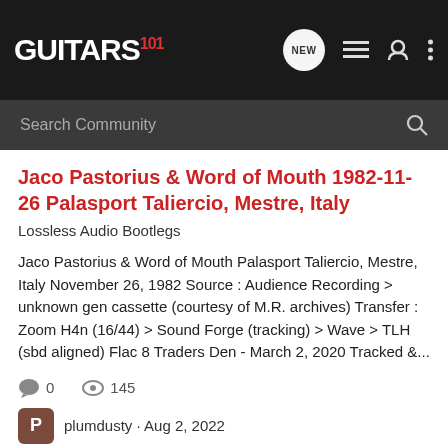GUITARS 101
Jaco Pastorius & Word of Mouth 1982-11-26 Palasport Taliercio, Mestre, Italy
Lossless Audio Bootlegs
Jaco Pastorius & Word of Mouth Palasport Taliercio, Mestre, Italy November 26, 1982 Source : Audience Recording > unknown gen cassette (courtesy of M.R. archives) Transfer : Zoom H4n (16/44) > Sound Forge (tracking) > Wave > TLH (sbd aligned) Flac 8 Traders Den - March 2, 2020 Tracked &...
0 comments  145 views
plumdusty · Aug 2, 2022
jaco pastorius